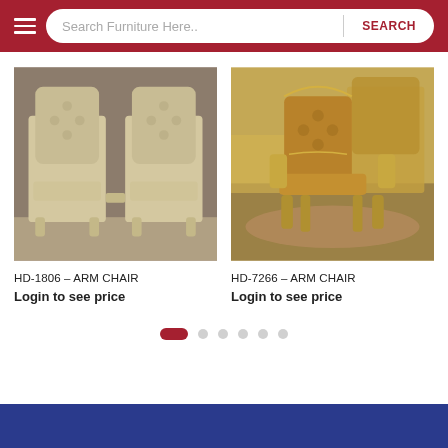Search Furniture Here.. SEARCH
[Figure (photo): HD-1806 Arm Chair — ornate white/ivory carved wood frame with tufted silver/gold upholstery, two high-back throne-style chairs against damask wallpaper]
HD-1806 – ARM CHAIR
Login to see price
[Figure (photo): HD-7266 Arm Chair — gold/bronze leather tufted dining arm chair with carved gold wood frame, shown in formal dining room setting]
HD-7266 – ARM CHAIR
Login to see price